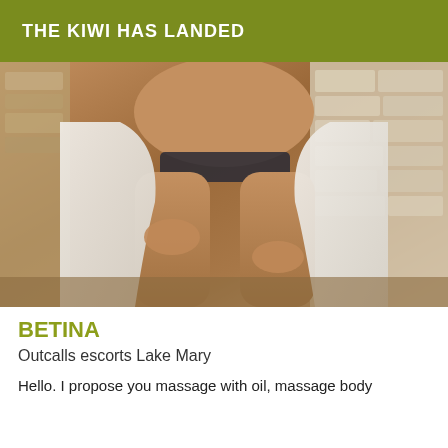THE KIWI HAS LANDED
[Figure (photo): A person crouching or bending, holding a white towel, wearing dark underwear, in a spa or bathroom setting with stone wall in background]
BETINA
Outcalls escorts Lake Mary
Hello. I propose you massage with oil, massage body